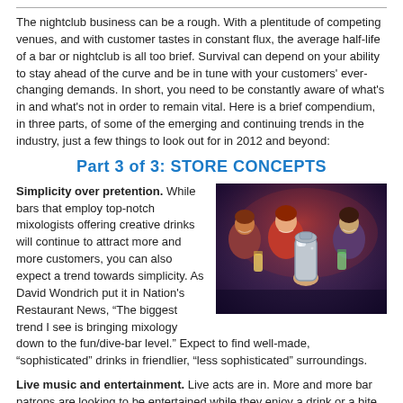The nightclub business can be a rough. With a plentitude of competing venues, and with customer tastes in constant flux, the average half-life of a bar or nightclub is all too brief. Survival can depend on your ability to stay ahead of the curve and be in tune with your customers' ever-changing demands. In short, you need to be constantly aware of what's in and what's not in order to remain vital. Here is a brief compendium, in three parts, of some of the emerging and continuing trends in the industry, just a few things to look out for in 2012 and beyond:
Part 3 of 3: STORE CONCEPTS
Simplicity over pretention. While bars that employ top-notch mixologists offering creative drinks will continue to attract more and more customers, you can also expect a trend towards simplicity. As David Wondrich put it in Nation's Restaurant News, “The biggest trend I see is bringing mixology down to the fun/dive-bar level.” Expect to find well-made, “sophisticated” drinks in friendlier, “less sophisticated” surroundings.
[Figure (photo): Photo of people at a bar/nightclub, one person holding a cocktail shaker, others in the background holding drinks and smiling.]
Live music and entertainment. Live acts are in. More and more bar patrons are looking to be entertained while they enjoy a drink or a bite. While live entertainment has always been a good way to drive traffic to your store, drinkers and diners—particularly the over thirty crowd—are starting to look for it more and more. Thanks to the Internet, booking these acts—whether a local band, a jazz singer or comedian--is easier than ever